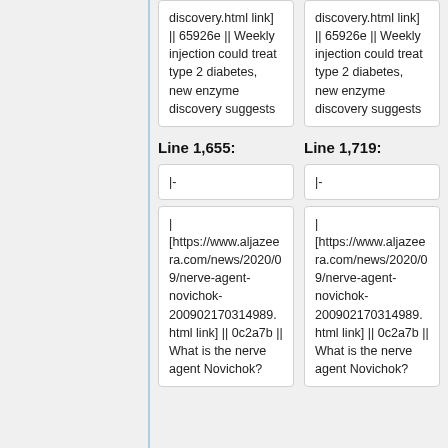discovery.html link] || 65926e || Weekly injection could treat type 2 diabetes, new enzyme discovery suggests
discovery.html link] || 65926e || Weekly injection could treat type 2 diabetes, new enzyme discovery suggests
Line 1,655:
Line 1,719:
|-
|-
| [https://www.aljazeera.com/news/2020/09/nerve-agent-novichok-200902170314989.html link] || 0c2a7b || What is the nerve agent Novichok?
| [https://www.aljazeera.com/news/2020/09/nerve-agent-novichok-200902170314989.html link] || 0c2a7b || What is the nerve agent Novichok?